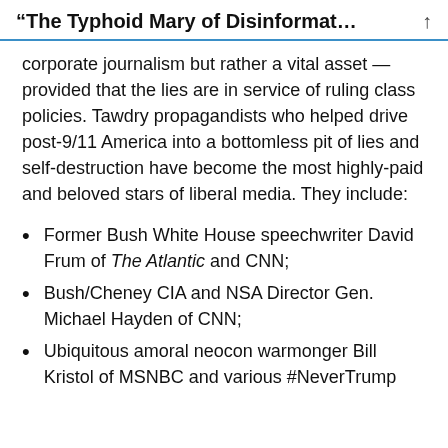“The Typhoid Mary of Disinformat…
corporate journalism but rather a vital asset — provided that the lies are in service of ruling class policies. Tawdry propagandists who helped drive post-9/11 America into a bottomless pit of lies and self-destruction have become the most highly-paid and beloved stars of liberal media. They include:
Former Bush White House speechwriter David Frum of The Atlantic and CNN;
Bush/Cheney CIA and NSA Director Gen. Michael Hayden of CNN;
Ubiquitous amoral neocon warmonger Bill Kristol of MSNBC and various #NeverTrump